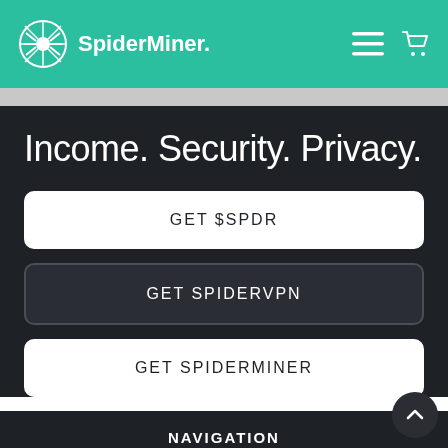SpiderMiner.
Income. Security. Privacy.
GET $SPDR
GET SPIDERVPN
GET SPIDERMINER
NAVIGATION
Pre-order